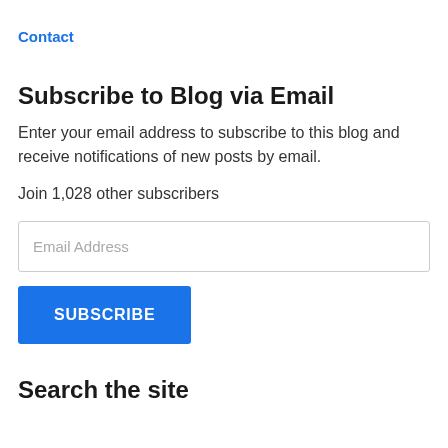Contact
Subscribe to Blog via Email
Enter your email address to subscribe to this blog and receive notifications of new posts by email.
Join 1,028 other subscribers
[Figure (other): Email address input field with placeholder text 'Email Address']
[Figure (other): Blue SUBSCRIBE button]
Search the site